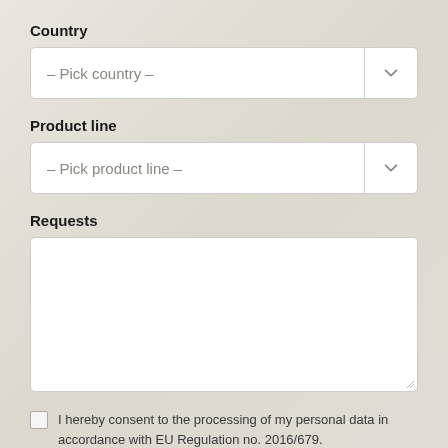Country
– Pick country –
Product line
– Pick product line –
Requests
I hereby consent to the processing of my personal data in accordance with EU Regulation no. 2016/679. ( Read the Privacy Policy )